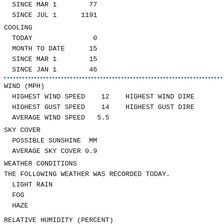SINCE MAR 1        77                                          62
  SINCE JUL 1      1191                                        1210
COOLING
TODAY               0                                           2
  MONTH TO DATE     15                                          21
  SINCE MAR 1       15                                          21
  SINCE JAN 1       46                                          59
WIND (MPH)
  HIGHEST WIND SPEED    12    HIGHEST WIND DIRE
  HIGHEST GUST SPEED    14    HIGHEST GUST DIRE
  AVERAGE WIND SPEED   5.5
SKY COVER
POSSIBLE SUNSHINE  MM
  AVERAGE SKY COVER 0.9
WEATHER CONDITIONS
THE FOLLOWING WEATHER WAS RECORDED TODAY.
LIGHT RAIN
FOG
HAZE
RELATIVE HUMIDITY (PERCENT)